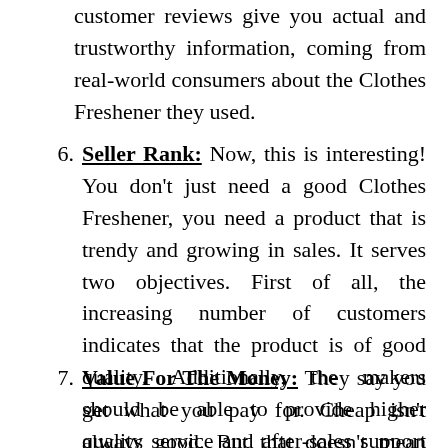customer reviews give you actual and trustworthy information, coming from real-world consumers about the Clothes Freshener they used.
Seller Rank: Now, this is interesting! You don't just need a good Clothes Freshener, you need a product that is trendy and growing in sales. It serves two objectives. First of all, the increasing number of customers indicates that the product is of good quality. Additionally, the makers should be able to provide higher quality service and after-sales support due to the increasing number of customers.
Value For The Money: They say you get what you pay for. Cheap isn't always good. But that doesn't mean splashing tons of money on a flashy but